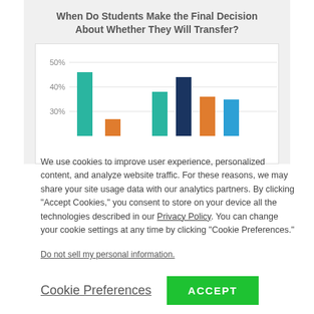[Figure (bar-chart): When Do Students Make the Final Decision About Whether They Will Transfer?]
We use cookies to improve user experience, personalized content, and analyze website traffic. For these reasons, we may share your site usage data with our analytics partners. By clicking "Accept Cookies," you consent to store on your device all the technologies described in our Privacy Policy. You can change your cookie settings at any time by clicking "Cookie Preferences."
Do not sell my personal information.
Cookie Preferences
ACCEPT